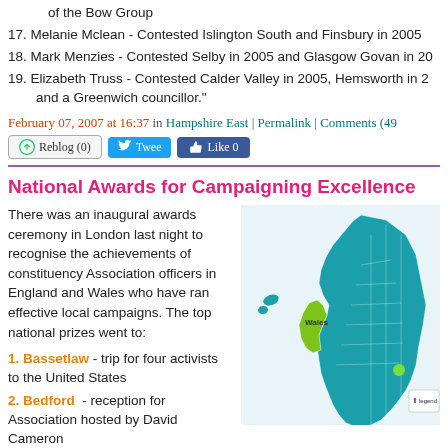of the Bow Group
17. Melanie Mclean - Contested Islington South and Finsbury in 2005
18. Mark Menzies - Contested Selby in 2005 and Glasgow Govan in 20
19. Elizabeth Truss - Contested Calder Valley in 2005, Hemsworth in 2 and a Greenwich councillor."
February 07, 2007 at 16:37 in Hampshire East | Permalink | Comments (49
National Awards for Campaigning Excellence
There was an inaugural awards ceremony in London last night to recognise the achievements of constituency Association officers in England and Wales who have ran effective local campaigns. The top national prizes went to:
1. Bassetlaw - trip for four activists to the United States
2. Bedford - reception for Association hosted by David Cameron
3. Filton Bradley Stoke - reception for Association hosted by Francis Ma
[Figure (map): Map of England and Wales showing constituencies coloured in teal/green, with Wales highlighted in bright green]